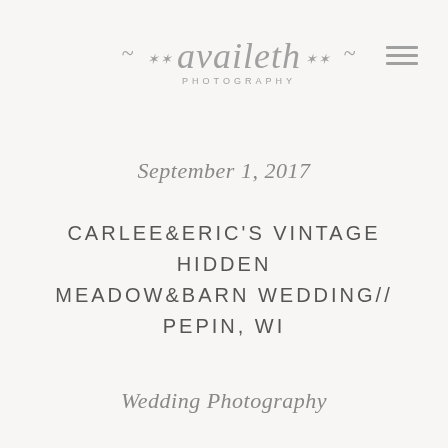availeth PHOTOGRAPHY
September 1, 2017
CARLEE&ERIC'S VINTAGE HIDDEN MEADOW&BARN WEDDING// PEPIN, WI
Wedding Photography